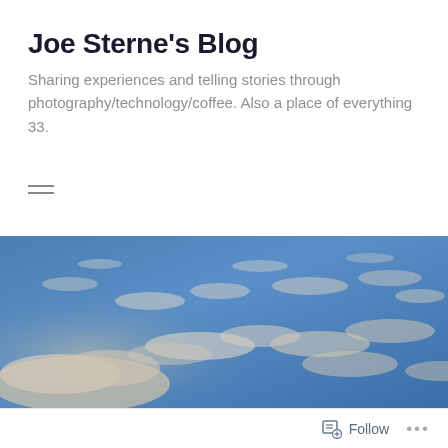Joe Sterne's Blog
Sharing experiences and telling stories through photography/technology/coffee. Also a place of everything 33.
[Figure (photo): A blue sky with scattered white and light tan clouds photographed from below, landscape orientation.]
Follow  ...